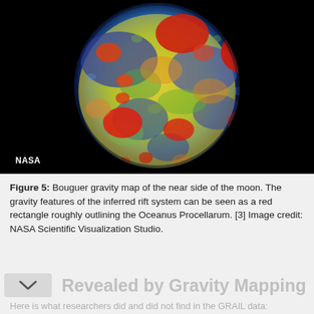[Figure (photo): False-color Bouguer gravity map of the near side of the moon, showing gravity anomalies in a spectrum from blue (low) through green, yellow, orange to red (high). Red blotches indicate positive gravity anomalies. A 'NASA' label is visible in the lower-left corner of the image.]
Figure 5: Bouguer gravity map of the near side of the moon. The gravity features of the inferred rift system can be seen as a red rectangle roughly outlining the Oceanus Procellarum. [3] Image credit: NASA Scientific Visualization Studio.
Revealed by Gravity Mapping
Here is what researchers did and did not find in the GRAIL data: